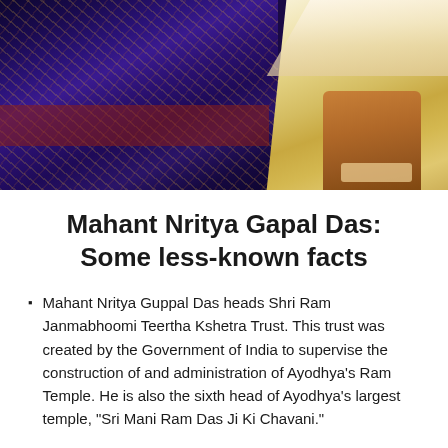[Figure (photo): Close-up photo showing ornate blue and gold embroidered fabric (traditional Indian textile) on the left, and a light cream/yellow silk garment on the right with a person's hand visible at the bottom right corner.]
Mahant Nritya Gapal Das: Some less-known facts
Mahant Nritya Guppal Das heads Shri Ram Janmabhoomi Teertha Kshetra Trust. This trust was created by the Government of India to supervise the construction of and administration of Ayodhya's Ram Temple. He is also the sixth head of Ayodhya's largest temple, "Sri Mani Ram Das Ji Ki Chavani."